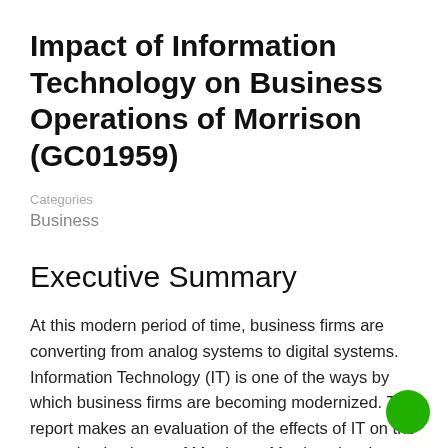Impact of Information Technology on Business Operations of Morrison (GC01959)
Categories
Business
Executive Summary
At this modern period of time, business firms are converting from analog systems to digital systems. Information Technology (IT) is one of the ways by which business firms are becoming modernized. This report makes an evaluation of the effects of IT on the operating business of Morrison.  Morrison is a large hotel industry in the United Kingdom. This company mainly used information technologies to increase productivity